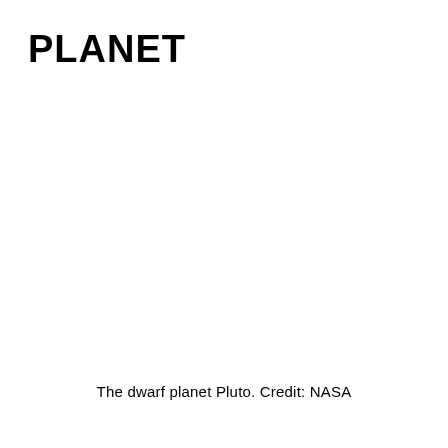PLANET
The dwarf planet Pluto. Credit: NASA